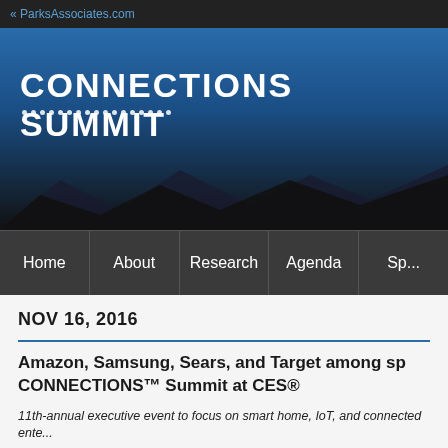« ParksAssociates.com
[Figure (illustration): Connections Summit banner with blue gradient background, mountain silhouette, white bold text 'CONNECTIONS SUMMIT' and dotted line decoration]
Home | About | Research | Agenda | Sp...
NOV 16, 2016
Amazon, Samsung, Sears, and Target among sp... CONNECTIONS™ Summit at CES®
11th-annual executive event to focus on smart home, IoT, and connected ente...